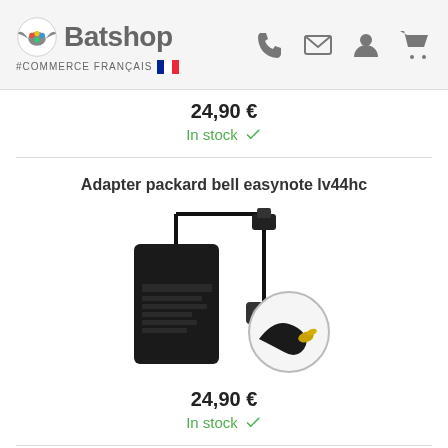Batshop #COMMERCE FRANÇAIS
24,90 €
In stock
Adapter packard bell easynote lv44hc
[Figure (photo): Power adapter for packard bell easynote lv44hc with cable and connector close-up]
24,90 €
In stock
Adapter acer aspire es15
[Figure (photo): Partial view of adapter for acer aspire es15 at bottom of page]